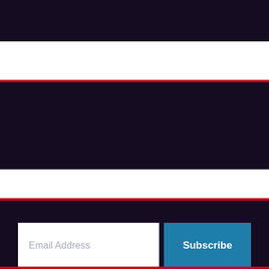[Figure (other): Dark navy band at top of page]
[Figure (other): Red stripe above second dark navy band]
[Figure (other): Second dark navy band]
[Figure (other): Red stripe above email subscription section]
[Figure (other): Email subscription dark navy section with email address input field and Subscribe button]
[Figure (other): Red stripe above fourth dark navy band]
[Figure (other): Fourth dark navy band]
[Figure (other): Red stripe at bottom of page]